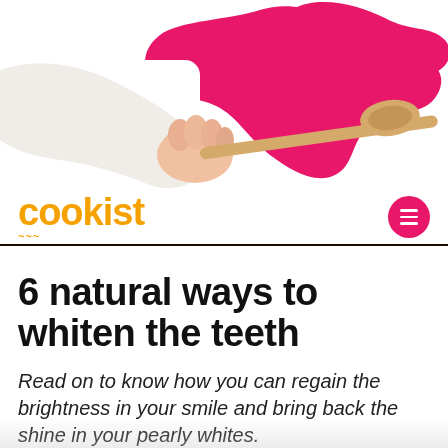[Figure (illustration): A hand holding a wooden spoon with a pink wavy decorative shape in the background, on a white background.]
cookist
6 natural ways to whiten the teeth
Read on to know how you can regain the brightness in your smile and bring back the shine in your pearly whites.